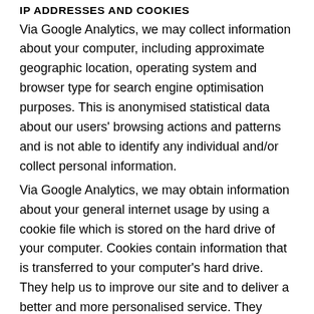IP ADDRESSES AND COOKIES
Via Google Analytics, we may collect information about your computer, including approximate geographic location, operating system and browser type for search engine optimisation purposes. This is anonymised statistical data about our users' browsing actions and patterns and is not able to identify any individual and/or collect personal information.
Via Google Analytics, we may obtain information about your general internet usage by using a cookie file which is stored on the hard drive of your computer. Cookies contain information that is transferred to your computer's hard drive. They help us to improve our site and to deliver a better and more personalised service. They enable us: